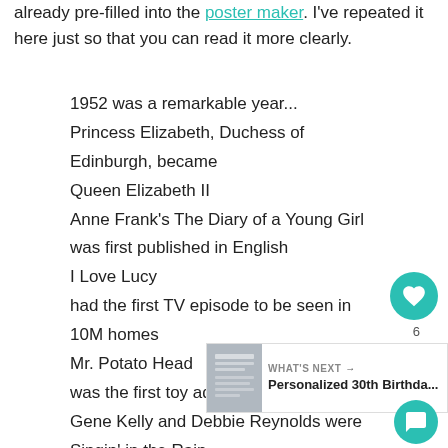already pre-filled into the poster maker. I've repeated it here just so that you can read it more clearly.
1952 was a remarkable year...
Princess Elizabeth, Duchess of Edinburgh, became Queen Elizabeth II
Anne Frank's The Diary of a Young Girl was first published in English
I Love Lucy
had the first TV episode to be seen in 10M homes
Mr. Potato Head
was the first toy advertised on Am...
Gene Kelly and Debbie Reynolds were Singin' in the Rain